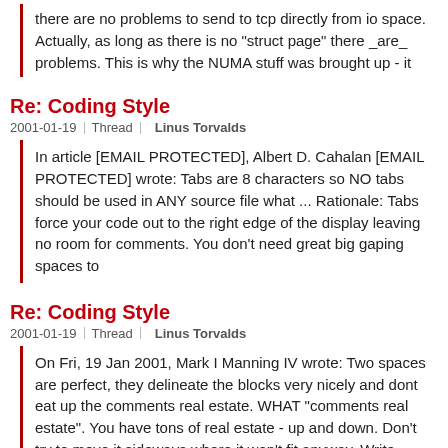there are no problems to send to tcp directly from io space. Actually, as long as there is no "struct page" there _are_ problems. This is why the NUMA stuff was brought up - it
Re: Coding Style
2001-01-19 | Thread | Linus Torvalds
In article [EMAIL PROTECTED], Albert D. Cahalan [EMAIL PROTECTED] wrote: Tabs are 8 characters so NO tabs should be used in ANY source file what ... Rationale: Tabs force your code out to the right edge of the display leaving no room for comments. You don't need great big gaping spaces to
Re: Coding Style
2001-01-19 | Thread | Linus Torvalds
On Fri, 19 Jan 2001, Mark I Manning IV wrote: Two spaces are perfect, they delineate the blocks very nicely and dont eat up the comments real estate. WHAT "comments real estate". You have tons of real estate - up and down. Don't try to move it sideways where it won't fit anyway. Write
Re: 2.4.1-pre9 fails to compile drm r128 as module